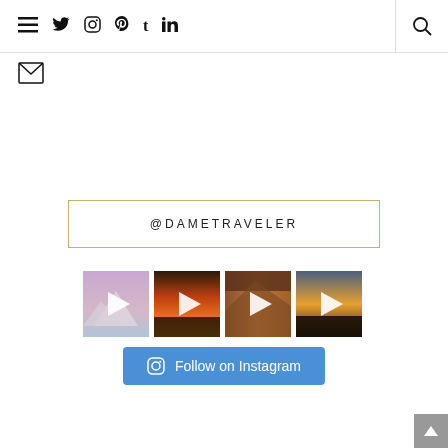Navigation bar with menu, twitter, instagram, pinterest, tumblr, linkedin icons and search
[Figure (screenshot): Email/envelope icon]
@DAMETRAVELER
[Figure (photo): Four Instagram video thumbnails showing travel scenes with play buttons]
Follow on Instagram
[Figure (other): Scroll to top button arrow]